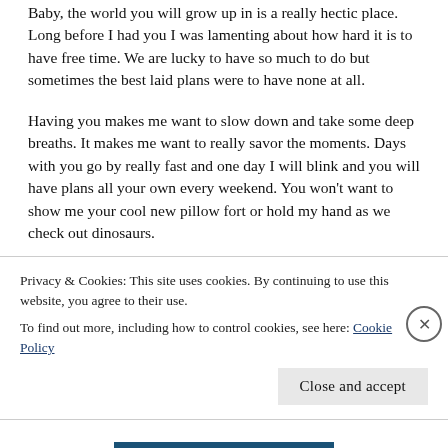Baby, the world you will grow up in is a really hectic place. Long before I had you I was lamenting about how hard it is to have free time. We are lucky to have so much to do but sometimes the best laid plans were to have none at all.
Having you makes me want to slow down and take some deep breaths. It makes me want to really savor the moments. Days with you go by really fast and one day I will blink and you will have plans all your own every weekend. You won’t want to show me your cool new pillow fort or hold my hand as we check out dinosaurs.
I know that you are bound to get busy too one day. I hope you have tons of family, friends and interests to keep your
Privacy & Cookies: This site uses cookies. By continuing to use this website, you agree to their use.
To find out more, including how to control cookies, see here: Cookie Policy
Close and accept